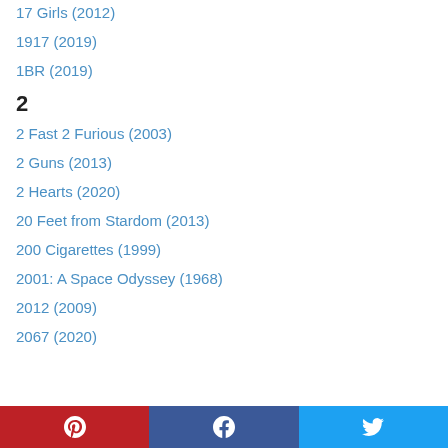17 Girls (2012)
1917 (2019)
1BR (2019)
2
2 Fast 2 Furious (2003)
2 Guns (2013)
2 Hearts (2020)
20 Feet from Stardom (2013)
200 Cigarettes (1999)
2001: A Space Odyssey (1968)
2012 (2009)
2067 (2020)
Pinterest | Facebook | Twitter